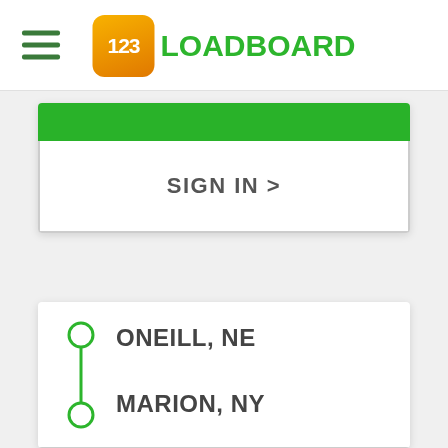[Figure (logo): 123Loadboard logo with hamburger menu icon]
SIGN IN >
ONEILL, NE
MARION, NY